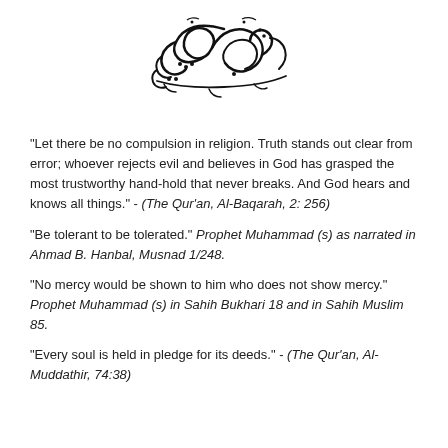[Figure (illustration): Arabic Basmala calligraphy centered at top of page]
"Let there be no compulsion in religion. Truth stands out clear from error; whoever rejects evil and believes in God has grasped the most trustworthy hand-hold that never breaks. And God hears and knows all things." - (The Qur'an, Al-Baqarah, 2: 256)
"Be tolerant to be tolerated." Prophet Muhammad (s) as narrated in Ahmad B. Hanbal, Musnad 1/248.
"No mercy would be shown to him who does not show mercy." Prophet Muhammad (s) in Sahih Bukhari 18 and in Sahih Muslim 85.
"Every soul is held in pledge for its deeds." - (The Qur'an, Al-Muddathir, 74:38)